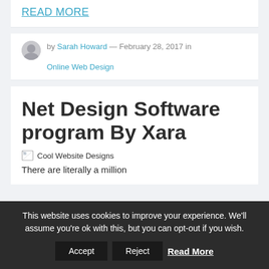READ MORE
by Sarah Howard — February 28, 2017 in Online Web Design
Net Design Software program By Xara
[Figure (illustration): Broken image icon with alt text 'Cool Website Designs']
There are literally a million
This website uses cookies to improve your experience. We'll assume you're ok with this, but you can opt-out if you wish. Accept Reject Read More